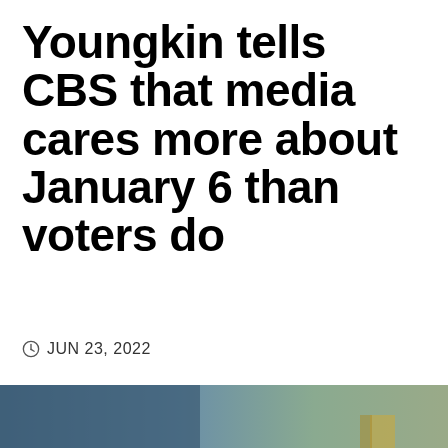Youngkin tells CBS that media cares more about January 6 than voters do
JUN 23, 2022
[Figure (photo): Photo of Glenn Youngkin, a man in a suit looking upward slightly, against a blurred blue and brown background]